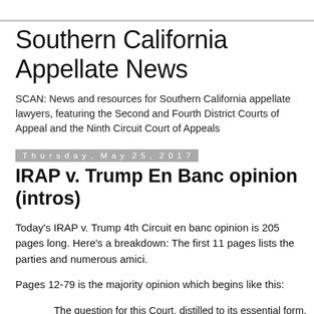Southern California Appellate News
SCAN: News and resources for Southern California appellate lawyers, featuring the Second and Fourth District Courts of Appeal and the Ninth Circuit Court of Appeals
Thursday, May 25, 2017
IRAP v. Trump En Banc opinion (intros)
Today's IRAP v. Trump 4th Circuit en banc opinion is 205 pages long. Here's a breakdown: The first 11 pages lists the parties and numerous amici.
Pages 12-79 is the majority opinion which begins like this:
The question for this Court, distilled to its essential form, is whether the Constitution, as the